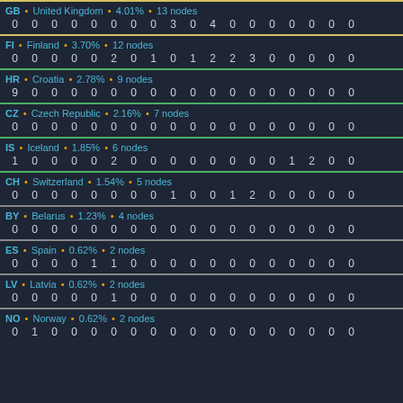| Country | Percentage | Nodes | Data |
| --- | --- | --- | --- |
| GB • United Kingdom | 4.01% | 13 nodes | 0 0 0 0 0 0 0 0 3 0 4 0 0 0 0 0 0 0 |
| FI • Finland | 3.70% | 12 nodes | 0 0 0 0 0 2 0 1 0 1 2 2 3 0 0 0 0 0 |
| HR • Croatia | 2.78% | 9 nodes | 9 0 0 0 0 0 0 0 0 0 0 0 0 0 0 0 0 0 |
| CZ • Czech Republic | 2.16% | 7 nodes | 0 0 0 0 0 0 0 0 0 0 0 0 0 0 0 0 0 0 |
| IS • Iceland | 1.85% | 6 nodes | 1 0 0 0 0 2 0 0 0 0 0 0 0 0 1 2 0 0 |
| CH • Switzerland | 1.54% | 5 nodes | 0 0 0 0 0 0 0 0 1 0 0 1 2 0 0 0 0 0 |
| BY • Belarus | 1.23% | 4 nodes | 0 0 0 0 0 0 0 0 0 0 0 0 0 0 0 0 0 0 |
| ES • Spain | 0.62% | 2 nodes | 0 0 0 0 1 1 0 0 0 0 0 0 0 0 0 0 0 0 |
| LV • Latvia | 0.62% | 2 nodes | 0 0 0 0 0 1 0 0 0 0 0 0 0 0 0 0 0 0 |
| NO • Norway | 0.62% | 2 nodes | 0 1 0 0 0 0 0 0 0 0 0 0 0 0 0 0 0 0 |